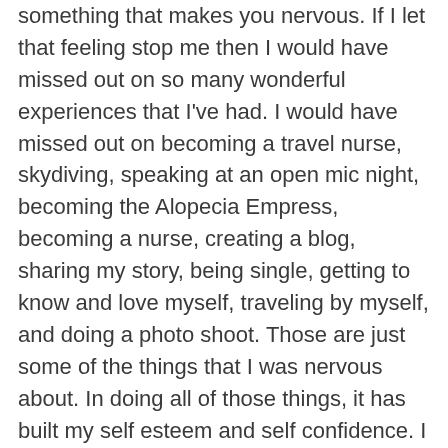something that makes you nervous. If I let that feeling stop me then I would have missed out on so many wonderful experiences that I've had.  I would have missed out on becoming a travel nurse, skydiving, speaking at an open mic night, becoming the Alopecia Empress, becoming a nurse, creating a blog, sharing my story, being single, getting to know and love myself, traveling by myself, and doing a photo shoot.  Those are just some of the things that I was nervous about.  In doing all of those things, it has built my self esteem and self confidence.  I not only did those things but I also had fun doing them.
You might surprise yourself when you do something that scares you.